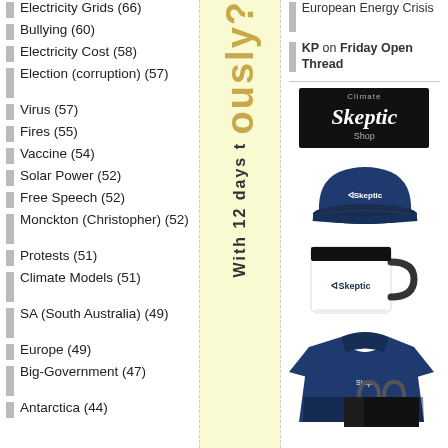Electricity Grids (66)
Bullying (60)
Electricity Cost (58)
Election (corruption) (57)
Virus (57)
Fires (55)
Vaccine (54)
Solar Power (52)
Free Speech (52)
Monckton (Christopher) (52)
Protests (51)
Climate Models (51)
SA (South Australia) (49)
Europe (49)
Big-Government (47)
Antarctica (44)
[Figure (other): Vertical rotated text reading 'ously?' in gold/yellow bold font on light yellow background, then 'With 12 days t' in dark bold text below]
European Energy Crisis
KP on Friday Open Thread
[Figure (logo): Climate Skeptic Shop logo - black rectangular banner with white text 'Climate Skeptic Shop']
[Figure (photo): Merchandise display showing navy blue baseball cap with Skeptic logo, white mug with Skeptic branding, navy polo shirt with Skeptic branding, and black bag with Skeptic logo]